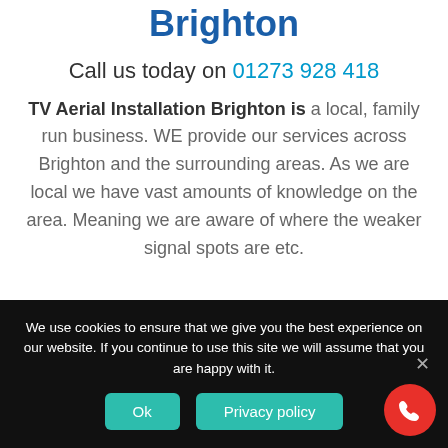Brighton
Call us today on 01273 928 418
TV Aerial Installation Brighton is a local, family run business. WE provide our services across Brighton and the surrounding areas. As we are local we have vast amounts of knowledge on the area. Meaning we are aware of where the weaker signal spots are etc.
We use cookies to ensure that we give you the best experience on our website. If you continue to use this site we will assume that you are happy with it.